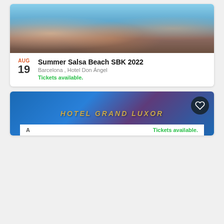[Figure (photo): Group photo of multiple people, event promotional image for Summer Salsa Beach SBK 2022]
AUG 19  Summer Salsa Beach SBK 2022
Barcelona , Hotel Don Ángel
Tickets available.
[Figure (photo): Blue/purple gradient banner with gold text reading HOTEL GRAND LUXOR, heart favorite button in top right]
Utilizamos cookies propias y de terceros para mejorar nuestros servicios y para el análisis de sus hábitos de navegación.
Puede cambiar la configuración u obtener más información aquí
ACEPTAR
Tickets available.